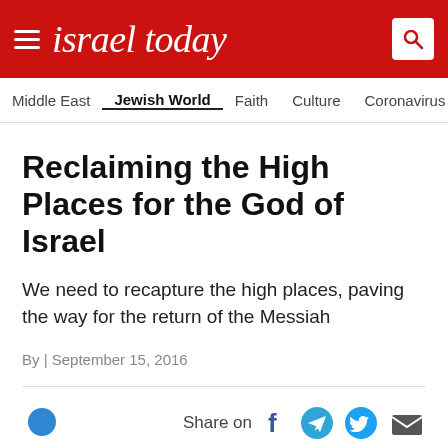israel today
Middle East | Jewish World | Faith | Culture | Coronavirus | Ga
Reclaiming the High Places for the God of Israel
We need to recapture the high places, paving the way for the return of the Messiah
By | September 15, 2016
Share on